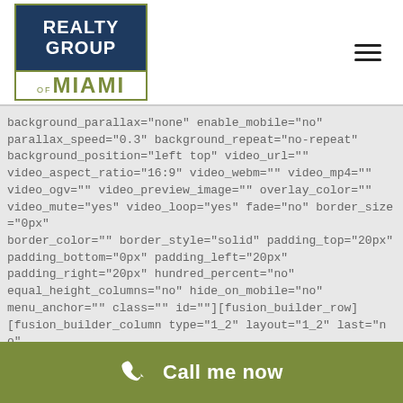[Figure (logo): Realty Group of Miami logo with dark blue top section and olive green bottom border with MIAMI text]
[Figure (other): Hamburger menu icon (three horizontal lines)]
background_parallax="none" enable_mobile="no" parallax_speed="0.3" background_repeat="no-repeat" background_position="left top" video_url="" video_aspect_ratio="16:9" video_webm="" video_mp4="" video_ogv="" video_preview_image="" overlay_color="" video_mute="yes" video_loop="yes" fade="no" border_size="0px" border_color="" border_style="solid" padding_top="20px" padding_bottom="0px" padding_left="20px" padding_right="20px" hundred_percent="no" equal_height_columns="no" hide_on_mobile="no" menu_anchor="" class="" id=""][fusion_builder_row] [fusion_builder_column type="1_2" layout="1_2" last="no"
Call me now